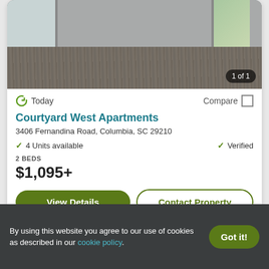[Figure (photo): Interior photo of an empty apartment room with gray wood-look flooring and light gray walls, with windows visible. Badge shows '1 of 1'.]
Today
Compare
Courtyard West Apartments
3406 Fernandina Road, Columbia, SC 29210
4 Units available
Verified
2 BEDS
$1,095+
View Details
Contact Property
Top Rated for Location
By using this website you agree to our use of cookies as described in our cookie policy.
Got it!